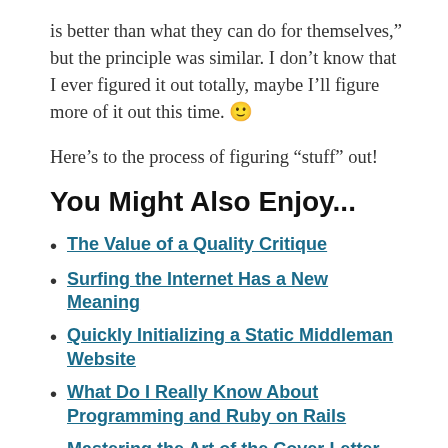is better than what they can do for themselves,” but the principle was similar. I don’t know that I ever figured it out totally, maybe I’ll figure more of it out this time. 🙂
Here’s to the process of figuring “stuff” out!
You Might Also Enjoy...
The Value of a Quality Critique
Surfing the Internet Has a New Meaning
Quickly Initializing a Static Middleman Website
What Do I Really Know About Programming and Ruby on Rails
Mastering the Art of the Cover Letter